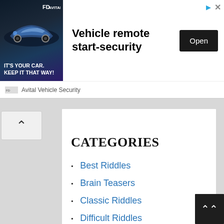[Figure (screenshot): Advertisement banner for Avital Vehicle Security showing a car image with text 'IT'S YOUR CAR. KEEP IT THAT WAY!', headline 'Vehicle remote start-security', and an 'Open' button.]
Avital Vehicle Security
CATEGORIES
Best Riddles
Brain Teasers
Classic Riddles
Difficult Riddles